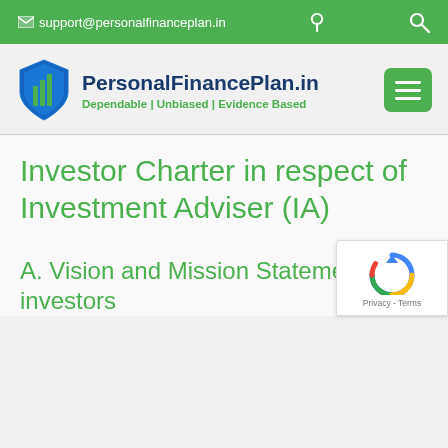✉ support@personalfinanceplan.in
[Figure (logo): PersonalFinancePlan.in logo with shield icon, site name in dark blue, tagline 'Dependable | Unbiased | Evidence Based' in green, and green hamburger menu button]
Investor Charter in respect of Investment Adviser (IA)
A. Vision and Mission Statements for investors